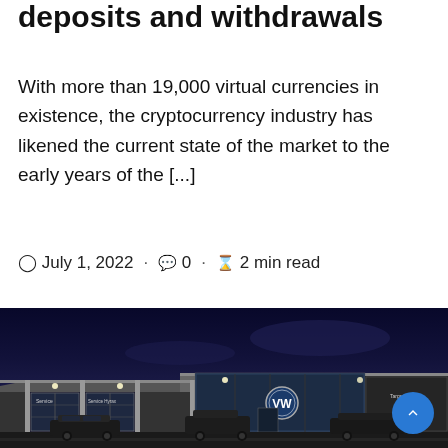deposits and withdrawals
With more than 19,000 virtual currencies in existence, the cryptocurrency industry has likened the current state of the market to the early years of the [...]
July 1, 2022 · 0 · 2 min read
[Figure (photo): Volkswagen car dealership at night, illuminated storefront with VW logo, service bays on left, vehicles parked in front]